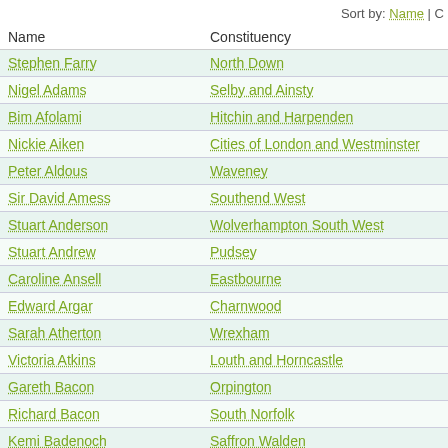Sort by: Name | C
| Name | Constituency |
| --- | --- |
| Stephen Farry | North Down |
| Nigel Adams | Selby and Ainsty |
| Bim Afolami | Hitchin and Harpenden |
| Nickie Aiken | Cities of London and Westminster |
| Peter Aldous | Waveney |
| Sir David Amess | Southend West |
| Stuart Anderson | Wolverhampton South West |
| Stuart Andrew | Pudsey |
| Caroline Ansell | Eastbourne |
| Edward Argar | Charnwood |
| Sarah Atherton | Wrexham |
| Victoria Atkins | Louth and Horncastle |
| Gareth Bacon | Orpington |
| Richard Bacon | South Norfolk |
| Kemi Badenoch | Saffron Walden |